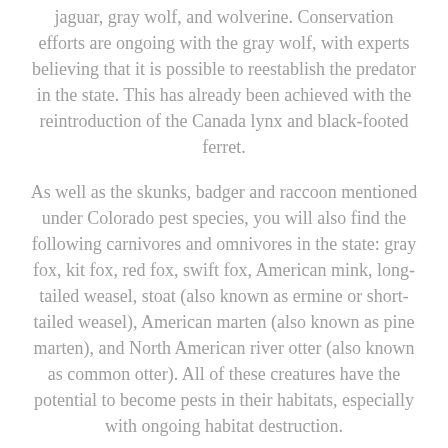jaguar, gray wolf, and wolverine. Conservation efforts are ongoing with the gray wolf, with experts believing that it is possible to reestablish the predator in the state. This has already been achieved with the reintroduction of the Canada lynx and black-footed ferret.
As well as the skunks, badger and raccoon mentioned under Colorado pest species, you will also find the following carnivores and omnivores in the state: gray fox, kit fox, red fox, swift fox, American mink, long-tailed weasel, stoat (also known as ermine or short-tailed weasel), American marten (also known as pine marten), and North American river otter (also known as common otter). All of these creatures have the potential to become pests in their habitats, especially with ongoing habitat destruction.